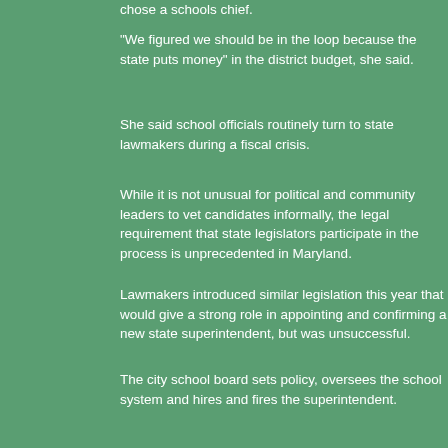chose a schools chief.
“We figured we should be in the loop because the state puts money” in the district budget, she said.
She said school officials routinely turn to state lawmakers during a fiscal crisis.
While it is not unusual for political and community leaders to vet candidates informally, the legal requirement that state legislators participate in the process is unprecedented in Maryland.
Lawmakers introduced similar legislation this year that would give a strong role in appointing and confirming a new state superintendent, but was unsuccessful.
The city school board sets policy, oversees the school system and hires and fires the superintendent.
The board has long opposed electing members, and any legislation that infringed upon its autonomy.
Marnell A. Cooper, the board’s chairman, said the board is in a position to support the addition of two elected members.